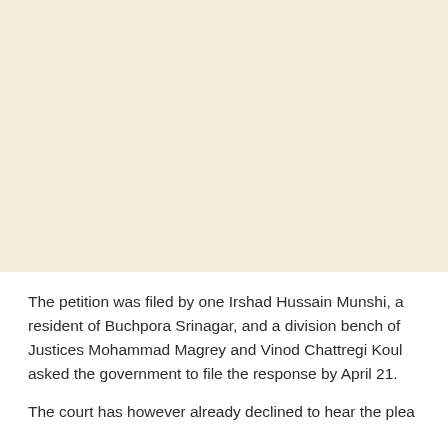[Figure (other): Blank cream/beige colored image area at the top of the page]
The petition was filed by one Irshad Hussain Munshi, a resident of Buchpora Srinagar, and a division bench of Justices Mohammad Magrey and Vinod Chattregi Koul asked the government to file the response by April 21.
The court has however already declined to hear the plea